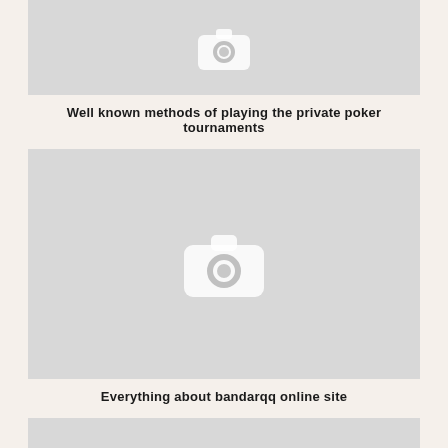[Figure (photo): Placeholder image with camera icon, top portion visible, grey background]
Well known methods of playing the private poker tournaments
[Figure (photo): Placeholder image with camera icon, grey background]
Everything about bandarqq online site
[Figure (photo): Placeholder image, bottom portion, grey background, partially visible]